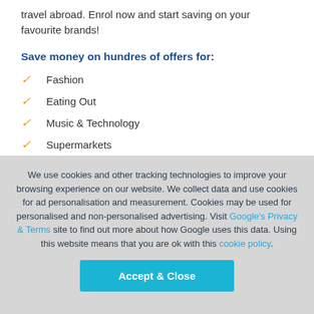travel abroad. Enrol now and start saving on your favourite brands!
Save money on hundres of offers for:
Fashion
Eating Out
Music & Technology
Supermarkets
Health & Fitness
We use cookies and other tracking technologies to improve your browsing experience on our website. We collect data and use cookies for ad personalisation and measurement. Cookies may be used for personalised and non-personalised advertising. Visit Google's Privacy & Terms site to find out more about how Google uses this data. Using this website means that you are ok with this cookie policy.
Accept & Close